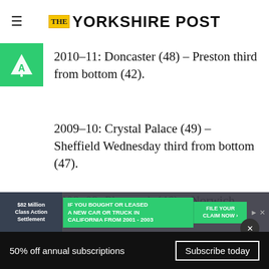THE YORKSHIRE POST
[Figure (logo): Green triangle badge with letter A and dot]
2010-11: Doncaster (48) – Preston third from bottom (42).
2009-10: Crystal Palace (49) – Sheffield Wednesday third from bottom (47).
2008-09: Plymouth (46) – Norwich third from bottom (46).
[Figure (screenshot): Advertisement overlay: $82 Million Class Action Settlement – IF YOU BOUGHT OR LEASED A NEW CAR OR TRUCK IN CALIFORNIA FROM 2001 - 2003 – FILE YOUR CLAIM NOW]
50% off annual subscriptions   Subscribe today